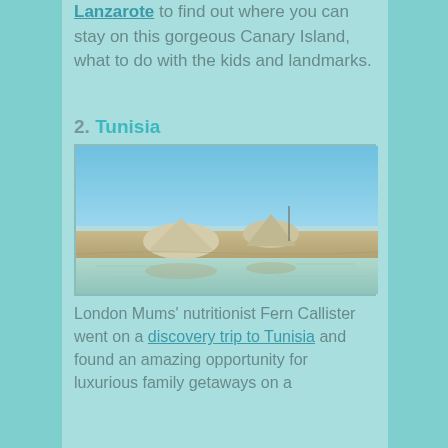Lanzarote to find out where you can stay on this gorgeous Canary Island, what to do with the kids and landmarks.
2. Tunisia
[Figure (photo): Landscape photo of Tunisia showing salt flats or a shallow lake with mounds of white salt/earth rising from reflective water, under a clear blue sky.]
London Mums' nutritionist Fern Callister went on a discovery trip to Tunisia and found an amazing opportunity for luxurious family getaways on a